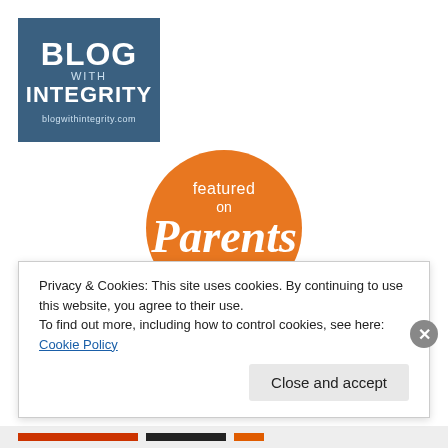[Figure (logo): Blog with Integrity badge — dark blue/teal square with text: BLOG WITH INTEGRITY and blogwithintegrity.com]
[Figure (logo): Featured on Parents.com — orange circle badge with white text reading 'featured on Parents .com']
Privacy & Cookies: This site uses cookies. By continuing to use this website, you agree to their use.
To find out more, including how to control cookies, see here: Cookie Policy
Close and accept